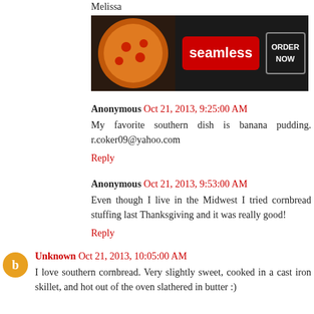Melissa
[Figure (screenshot): Seamless food delivery advertisement banner with pizza image on left, Seamless logo in center, and ORDER NOW button on right]
Anonymous  Oct 21, 2013, 9:25:00 AM
My favorite southern dish is banana pudding. r.coker09@yahoo.com
Reply
Anonymous  Oct 21, 2013, 9:53:00 AM
Even though I live in the Midwest I tried cornbread stuffing last Thanksgiving and it was really good!
Reply
Unknown  Oct 21, 2013, 10:05:00 AM
I love southern cornbread. Very slightly sweet, cooked in a cast iron skillet, and hot out of the oven slathered in butter :)